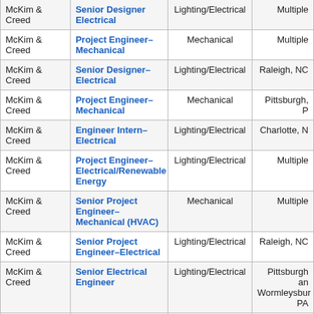| Company | Position | Discipline | Location |
| --- | --- | --- | --- |
| McKim & Creed | Senior Designer Electrical | Lighting/Electrical | Multiple |
| McKim & Creed | Project Engineer–Mechanical | Mechanical | Multiple |
| McKim & Creed | Senior Designer–Electrical | Lighting/Electrical | Raleigh, NC |
| McKim & Creed | Project Engineer–Mechanical | Mechanical | Pittsburgh, P |
| McKim & Creed | Engineer Intern–Electrical | Lighting/Electrical | Charlotte, N |
| McKim & Creed | Project Engineer–Electrical/Renewable Energy | Lighting/Electrical | Multiple |
| McKim & Creed | Senior Project Engineer–Mechanical (HVAC) | Mechanical | Multiple |
| McKim & Creed | Senior Project Engineer–Electrical | Lighting/Electrical | Raleigh, NC |
| McKim & Creed | Senior Electrical Engineer | Lighting/Electrical | Pittsburgh and Wormleysburg, PA |
| McKim & Creed | Designer–Mechanical | Mechanical | Raleigh, NC |